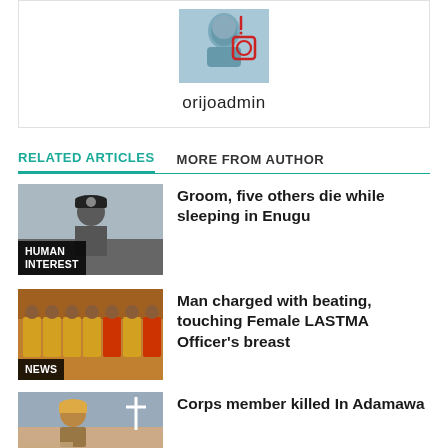[Figure (photo): Author avatar image showing a person with a red circle/badge overlay]
orijoadmin
RELATED ARTICLES   MORE FROM AUTHOR
[Figure (photo): Man in police/military cap uniform, labeled HUMAN INTEREST]
Groom, five others die while sleeping in Enugu
[Figure (photo): Group of LASTMA officers in yellow/red uniform, labeled NEWS]
Man charged with beating, touching Female LASTMA Officer's breast
[Figure (photo): Corps member portrait, labeled PAINFI...]
Corps member killed In Adamawa